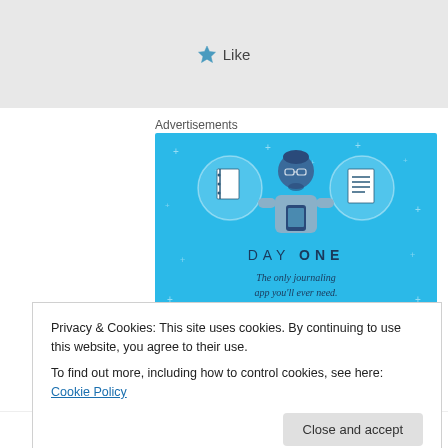[Figure (other): Grey bar with a blue star Like button]
Advertisements
[Figure (illustration): Day One app advertisement banner on blue background showing a person holding a phone, two circular icons (notebook and list), the text DAY ONE and tagline 'The only journaling app you'll ever need.']
Privacy & Cookies: This site uses cookies. By continuing to use this website, you agree to their use.
To find out more, including how to control cookies, see here: Cookie Policy
Close and accept
Of course, stone circles are also scheduled